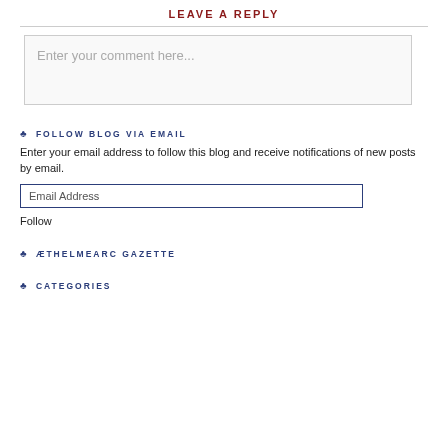LEAVE A REPLY
Enter your comment here...
♣ FOLLOW BLOG VIA EMAIL
Enter your email address to follow this blog and receive notifications of new posts by email.
Email Address
Follow
♣ ÆTHELMEARC GAZETTE
♣ CATEGORIES